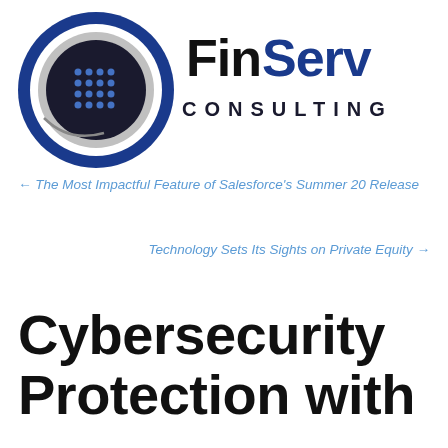[Figure (logo): FinServ Consulting logo with circular blue/silver emblem on the left and 'FinServ CONSULTING' text on the right in bold black and dark blue lettering]
← The Most Impactful Feature of Salesforce's Summer 20 Release
Technology Sets Its Sights on Private Equity →
Cybersecurity Protection with